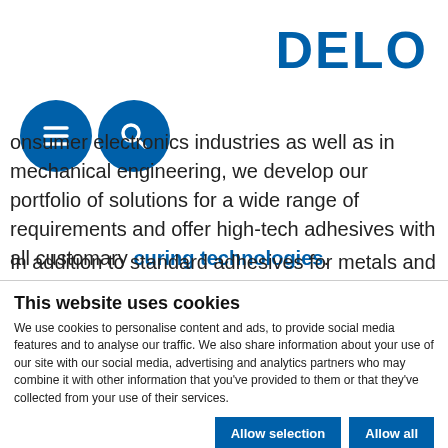[Figure (logo): DELO company logo in blue bold text]
[Figure (infographic): Two circular blue navigation icons: hamburger menu and search magnifying glass]
...consumer electronics industries as well as in mechanical engineering, we develop our portfolio of solutions for a wide range of requirements and offer high-tech adhesives with all customary curing technologies.
In addition to standard adhesives for metals and plastics, we offer customary special solutions for requirements that...
This website uses cookies
We use cookies to personalise content and ads, to provide social media features and to analyse our traffic. We also share information about your use of our site with our social media, advertising and analytics partners who may combine it with other information that you've provided to them or that they've collected from your use of their services.
Allow selection | Allow all
Necessary | Preferences | Statistics | Marketing | Show details